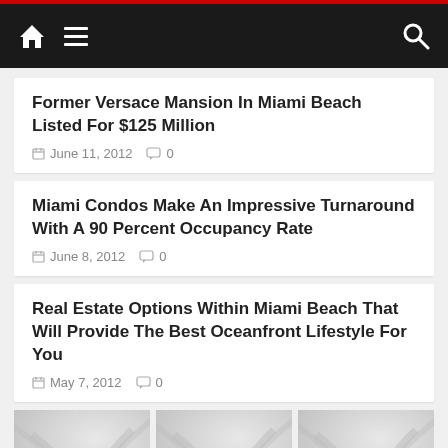Navigation bar with home icon, menu icon, and search icon
Former Versace Mansion In Miami Beach Listed For $125 Million
June 11, 2012  0
Miami Condos Make An Impressive Turnaround With A 90 Percent Occupancy Rate
June 8, 2012  0
Real Estate Options Within Miami Beach That Will Provide The Best Oceanfront Lifestyle For You
May 7, 2012  0
[Figure (infographic): Three advertisement placeholder blocks side by side labeled ADVERTISE HERE with decorative swirl backgrounds]